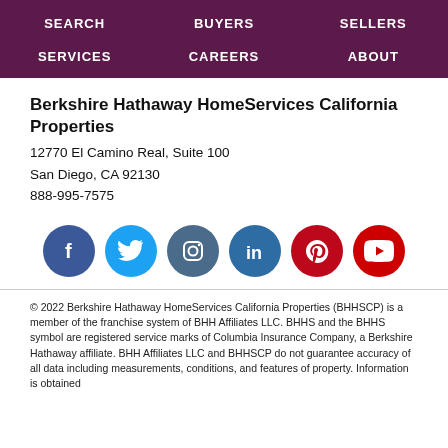SEARCH | BUYERS | SELLERS | SERVICES | CAREERS | ABOUT
Berkshire Hathaway HomeServices California Properties
12770 El Camino Real, Suite 100
San Diego, CA 92130
888-995-7575
[Figure (infographic): Row of six social media icon circles: Facebook (dark blue), Twitter (light blue), Instagram (blue-grey), LinkedIn (blue), Pinterest (red), YouTube (red)]
© 2022 Berkshire Hathaway HomeServices California Properties (BHHSCP) is a member of the franchise system of BHH Affiliates LLC. BHHS and the BHHS symbol are registered service marks of Columbia Insurance Company, a Berkshire Hathaway affiliate. BHH Affiliates LLC and BHHSCP do not guarantee accuracy of all data including measurements, conditions, and features of property. Information is obtained